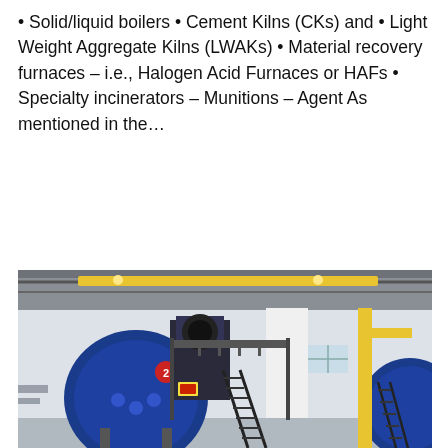• Solid/liquid boilers • Cement Kilns (CKs) and • Light Weight Aggregate Kilns (LWAKs) • Material recovery furnaces – i.e., Halogen Acid Furnaces or HAFs • Specialty incinerators – Munitions – Agent As mentioned in the...
Get Price
[Figure (photo): Industrial boiler room with large blue cylindrical boilers, black metal staircase, yellow piping, and overhead crane infrastructure in a white-walled industrial facility.]